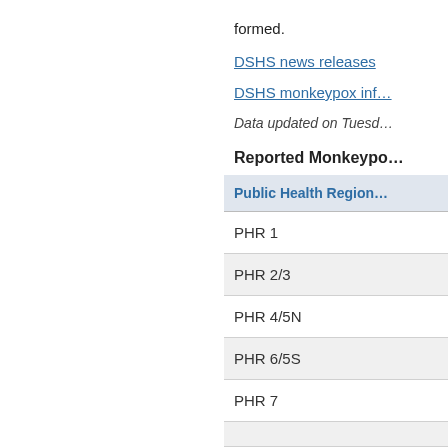formed.
DSHS news releases
DSHS monkeypox inf…
Data updated on Tuesd…
Reported Monkeypo…
| Public Health Region |
| --- |
| PHR 1 |
| PHR 2/3 |
| PHR 4/5N |
| PHR 6/5S |
| PHR 7 |